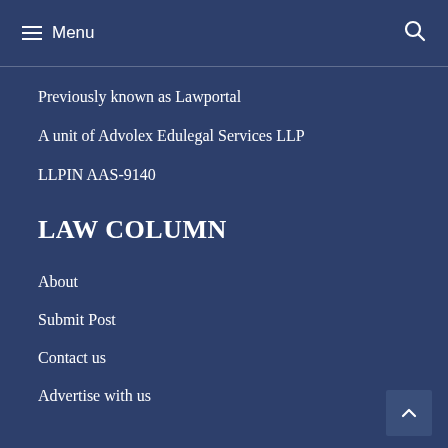Menu
Previously known as Lawportal
A unit of Advolex Edulegal Services LLP
LLPIN AAS-9140
LAW COLUMN
About
Submit Post
Contact us
Advertise with us